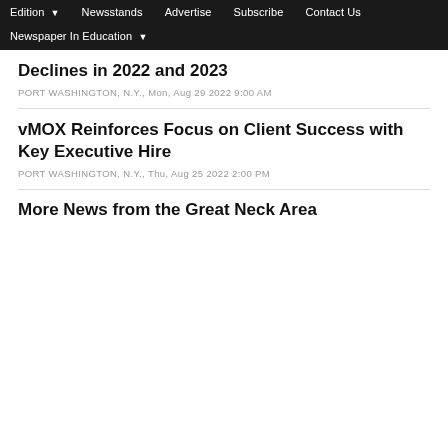Edition | Newsstands | Advertise | Subscribe | Contact Us | Newspaper In Education
Declines in 2022 and 2023
PORT WASHINGTON, N.Y., Mon, Aug 29 2022 9:00 AM
vMOX Reinforces Focus on Client Success with Key Executive Hire
PORT WASHINGTON, N.Y., Thu, Aug 25 2022 2:00 PM
More News from the Great Neck Area